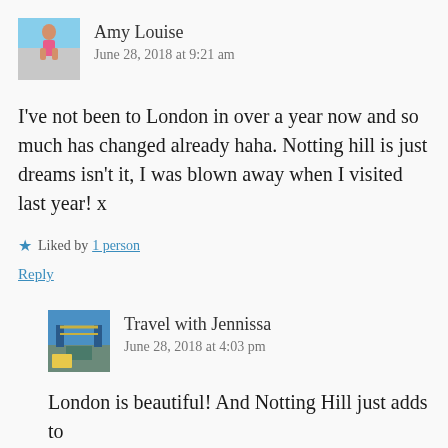[Figure (photo): Avatar photo of Amy Louise, person standing on a pier/dock by the sea]
Amy Louise
June 28, 2018 at 9:21 am
I've not been to London in over a year now and so much has changed already haha. Notting hill is just dreams isn't it, I was blown away when I visited last year! x
Liked by 1 person
Reply
[Figure (photo): Avatar photo of Travel with Jennissa, bridge/landmark scene]
Travel with Jennissa
June 28, 2018 at 4:03 pm
London is beautiful! And Notting Hill just adds to